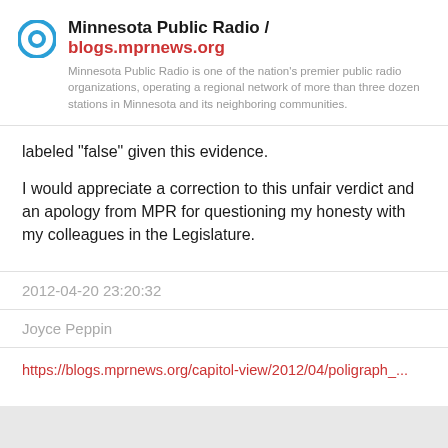Minnesota Public Radio / blogs.mprnews.org — Minnesota Public Radio is one of the nation's premier public radio organizations, operating a regional network of more than three dozen stations in Minnesota and its neighboring communities.
labeled “false” given this evidence.
I would appreciate a correction to this unfair verdict and an apology from MPR for questioning my honesty with my colleagues in the Legislature.
2012-04-20 23:20:32
Joyce Peppin
https://blogs.mprnews.org/capitol-view/2012/04/poligraph_...